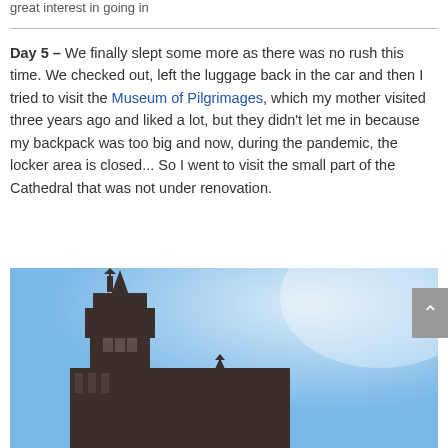great interest in going in
Day 5 – We finally slept some more as there was no rush this time. We checked out, left the luggage back in the car and then I tried to visit the Museum of Pilgrimages, which my mother visited three years ago and liked a lot, but they didn't let me in because my backpack was too big and now, during the pandemic, the locker area is closed... So I went to visit the small part of the Cathedral that was not under renovation.
[Figure (photo): Photo of cathedral spires and towers against a blue sky, taken from below looking up. The ornate Baroque towers of what appears to be the Santiago de Compostela Cathedral are visible.]